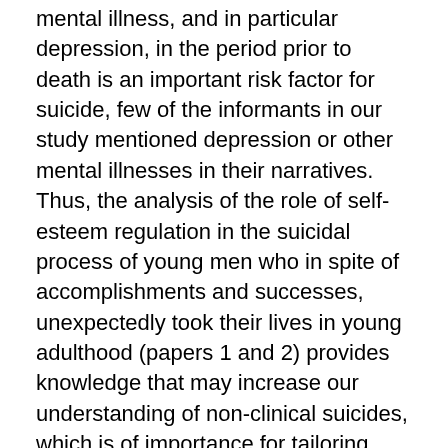mental illness, and in particular depression, in the period prior to death is an important risk factor for suicide, few of the informants in our study mentioned depression or other mental illnesses in their narratives. Thus, the analysis of the role of self-esteem regulation in the suicidal process of young men who in spite of accomplishments and successes, unexpectedly took their lives in young adulthood (papers 1 and 2) provides knowledge that may increase our understanding of non-clinical suicides, which is of importance for tailoring better prevention strategies.
A major challenge in this respect is related to the fact that most young men who take their own lives are not in contact with, nor seek help from, any health professionals prior to their death. Despite a